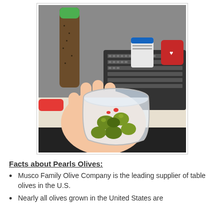[Figure (photo): A hand holding a small clear plastic cup containing green olives, with a desk background showing a keyboard, a smoothie shaker with green lid, and other desk items.]
Facts about Pearls Olives:
Musco Family Olive Company is the leading supplier of table olives in the U.S.
Nearly all olives grown in the United States are